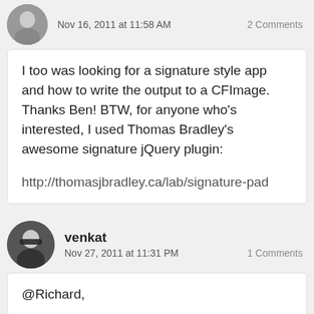Nov 16, 2011 at 11:58 AM    2 Comments
I too was looking for a signature style app and how to write the output to a CFImage. Thanks Ben! BTW, for anyone who's interested, I used Thomas Bradley's awesome signature jQuery plugin:

http://thomasjbradley.ca/lab/signature-pad
venkat
Nov 27, 2011 at 11:31 PM    1 Comments
@Richard,